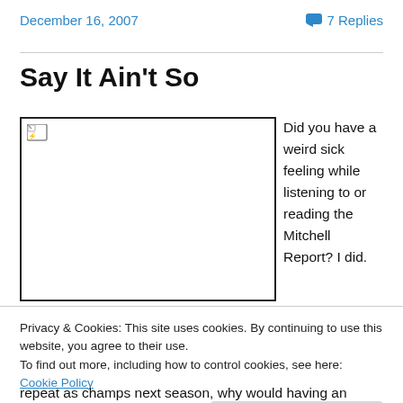December 16, 2007
7 Replies
Say It Ain't So
[Figure (photo): Broken image placeholder box with small broken image icon in upper left corner]
Did you have a weird sick feeling while listening to or reading the Mitchell Report? I did.
Privacy & Cookies: This site uses cookies. By continuing to use this website, you agree to their use.
To find out more, including how to control cookies, see here: Cookie Policy
Close and accept
repeat as champs next season, why would having an